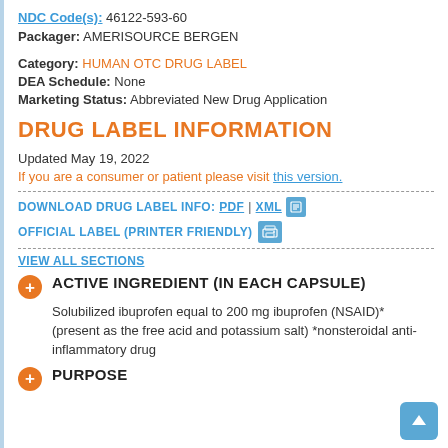NDC Code(s): 46122-593-60
Packager: AMERISOURCE BERGEN
Category: HUMAN OTC DRUG LABEL
DEA Schedule: None
Marketing Status: Abbreviated New Drug Application
DRUG LABEL INFORMATION
Updated May 19, 2022
If you are a consumer or patient please visit this version.
DOWNLOAD DRUG LABEL INFO: PDF | XML
OFFICIAL LABEL (PRINTER FRIENDLY)
VIEW ALL SECTIONS
ACTIVE INGREDIENT (IN EACH CAPSULE)
Solubilized ibuprofen equal to 200 mg ibuprofen (NSAID)* (present as the free acid and potassium salt) *nonsteroidal anti-inflammatory drug
PURPOSE